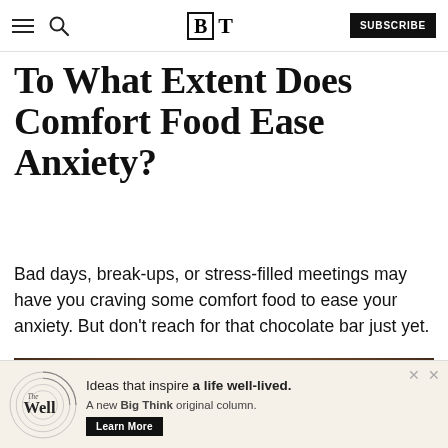BT — Big Think navigation bar with subscribe button
To What Extent Does Comfort Food Ease Anxiety?
Bad days, break-ups, or stress-filled meetings may have you craving some comfort food to ease your anxiety. But don't reach for that chocolate bar just yet.
[Figure (photo): Close-up photo of comfort food (burgers/bread) being held by hands, warm brown tones]
[Figure (infographic): Advertisement banner: The Well — Ideas that inspire a life well-lived. A new Big Think original column. Learn More button.]